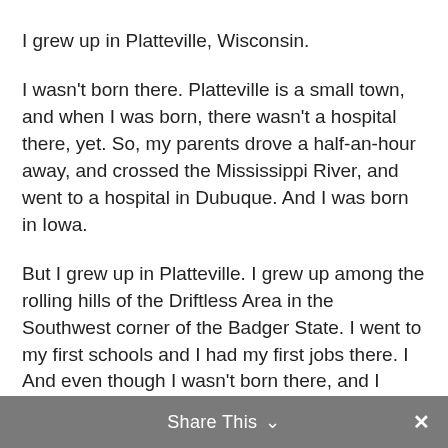I grew up in Platteville, Wisconsin.
I wasn't born there. Platteville is a small town, and when I was born, there wasn't a hospital there, yet. So, my parents drove a half-an-hour away, and crossed the Mississippi River, and went to a hospital in Dubuque. And I was born in Iowa.
But I grew up in Platteville. I grew up among the rolling hills of the Driftless Area in the Southwest corner of the Badger State. I went to my first schools and I had my first jobs there. I made my first friends and had my first awkward teenage romances there.
Share This  ×
And even though I wasn't born there, and I haven't